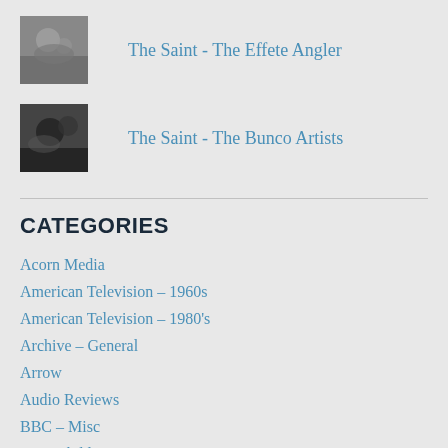The Saint - The Effete Angler
The Saint - The Bunco Artists
CATEGORIES
Acorn Media
American Television – 1960s
American Television – 1980's
Archive – General
Arrow
Audio Reviews
BBC – Misc
BBC Children's Programmes – 1960's
BBC Children's Programmes – 1970's
BBC Children's Programmes – 1980's
BBC Children's Programmes – 1990's
BBC Comedy – 1950's